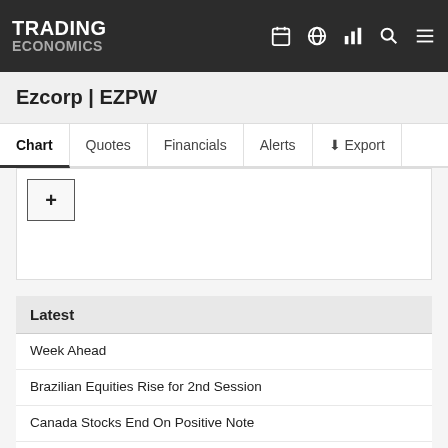TRADING ECONOMICS
Ezcorp | EZPW
Chart  Quotes  Financials  Alerts  Export
[Figure (other): Chart area with a plus (+) button for adding indicators]
Latest
Week Ahead
Brazilian Equities Rise for 2nd Session
Canada Stocks End On Positive Note
Wall Street Closes Sharply Lower
Paraguay August Inflation Rate at 5-Month Low
EU Natural Gas Prices Are Set to Surge on Monday
Colombia Exports Hit Record High in July